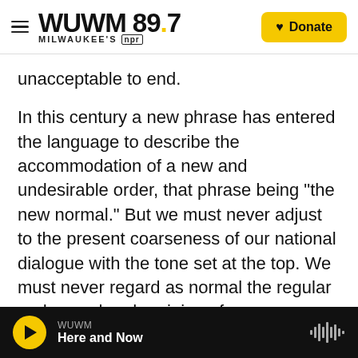[Figure (logo): WUWM 89.7 Milwaukee's NPR logo with hamburger menu icon and Donate button]
unacceptable to end.
In this century a new phrase has entered the language to describe the accommodation of a new and undesirable order, that phrase being "the new normal." But we must never adjust to the present coarseness of our national dialogue with the tone set at the top. We must never regard as normal the regular and casual undermining of our democratic norms and ideals. We must never meekly accept the daily sundering of our country. The personal attacks. The threats against principles, freedoms and institution. The flagrant disregard for truth and
WUWM  Here and Now